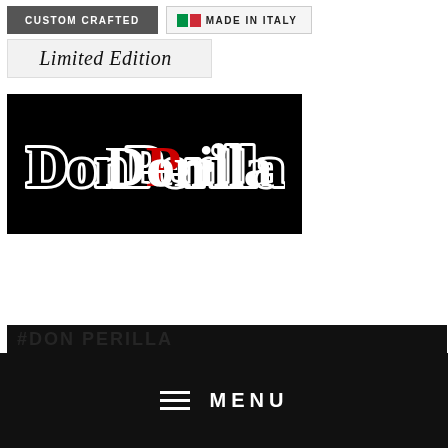[Figure (logo): Custom Crafted badge (dark grey background, white uppercase text)]
[Figure (logo): Made in Italy badge with Italian flag colors (green and red squares) and uppercase text]
[Figure (logo): Limited Edition script badge on light grey background]
[Figure (logo): Don Perilla brand logo: white and red cursive script on black background]
[Figure (screenshot): Partial text banner #DON PERILLA (partially visible) and black menu bar with hamburger icon and MENU text in white]